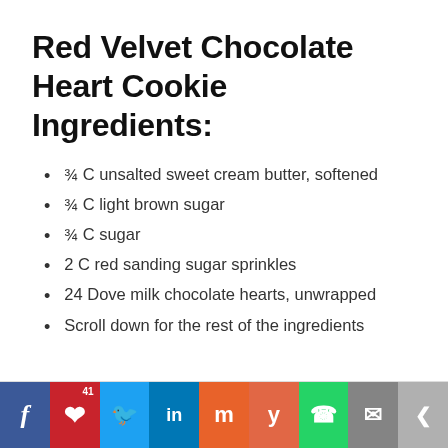Red Velvet Chocolate Heart Cookie Ingredients:
¾ C unsalted sweet cream butter, softened
¾ C light brown sugar
¾ C sugar
2 C red sanding sugar sprinkles
24 Dove milk chocolate hearts, unwrapped
Scroll down for the rest of the ingredients
Social share bar: Facebook, Pinterest (41), Twitter, LinkedIn, Mix, Yummly, WhatsApp, Email, Share